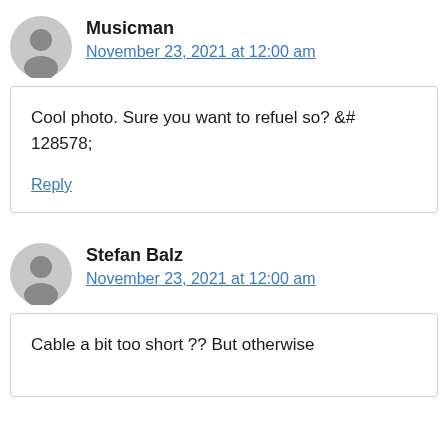Musicman
November 23, 2021 at 12:00 am
Cool photo. Sure you want to refuel so? &# 128578;
Reply
Stefan Balz
November 23, 2021 at 12:00 am
Cable a bit too short ?? But otherwise